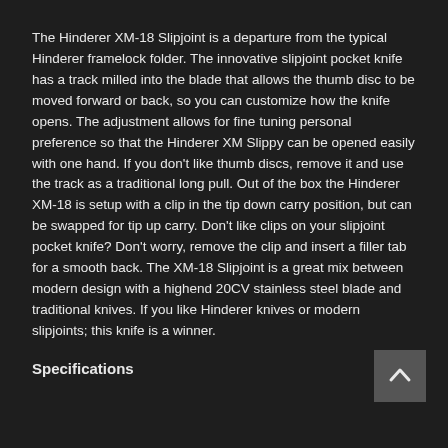The Hinderer XM-18 Slipjoint is a departure from the typical Hinderer framelock folder. The innovative slipjoint pocket knife has a track milled into the blade that allows the thumb disc to be moved forward or back, so you can customize how the knife opens. The adjustment allows for fine tuning personal preference so that the Hinderer XM Slippy can be opened easily with one hand. If you don't like thumb discs, remove it and use the track as a traditional long pull. Out of the box the Hinderer XM-18 is setup with a clip in the tip down carry position, but can be swapped for tip up carry. Don't like clips on your slipjoint pocket knife? Don't worry, remove the clip and insert a filler tab for a smooth back. The XM-18 Slipjoint is a great mix between modern design with a highend 20CV stainless steel blade and traditional knives. If you like Hinderer knives or modern slipjoints; this knife is a winner.
Specifications